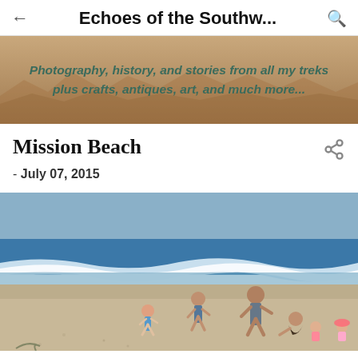Echoes of the Southw...
Photography, history, and stories from all my treks plus crafts, antiques, art, and much more...
Mission Beach
- July 07, 2015
[Figure (photo): People at Mission Beach - a child running toward the water, an adult man standing, a woman and two small children sitting on the sand, with ocean waves in the background]